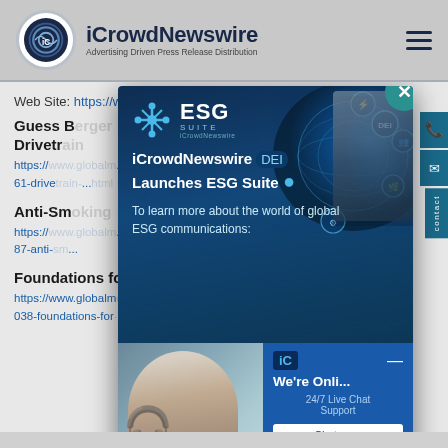[Figure (logo): iCrowdNewswire logo - circular icon with 'iC' letters and brand text 'iCrowdNewswire' with tagline 'Advertising Driven Press Release Distribution']
Web Site: https://www.globalm...com
Guess B... Drivetr...
https://... /47 61-drive... nl
Anti-Sm...
https://... 87-anti-...
Foundations for Oi...
https://www.globalm... 038-foundations-for...
[Figure (screenshot): ESG Suite modal popup overlay showing iCrowdNewswire Launches ESG Suite with tech globe illustration, text 'To learn more about the world of global ESG communications:' and operator/chat widget at bottom]
iCrowdNewswire Launches ESG Suite
To learn more about the world of global ESG communications:
We're Onli... 24/7 Live Chat Support
Chat no...